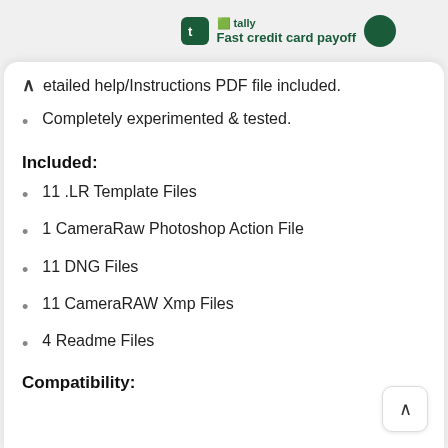tally Fast credit card payoff
etailed help/Instructions PDF file included.
Completely experimented & tested.
Included:
11 .LR Template Files
1 CameraRaw Photoshop Action File
11 DNG Files
11 CameraRAW Xmp Files
4 Readme Files
Compatibility: